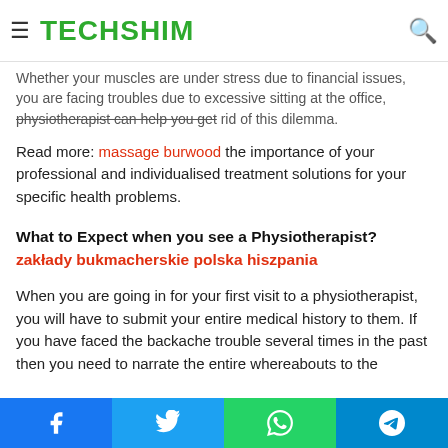TECHSHIM
Whether your muscles are under stress due to financial issues, you are facing troubles due to excessive sitting at the office, physiotherapist can help you get rid of this dilemma.
Read more: massage burwood the importance of your professional and individualised treatment solutions for your specific health problems.
What to Expect when you see a Physiotherapist? zakłady bukmacherskie polska hiszpania
When you are going in for your first visit to a physiotherapist, you will have to submit your entire medical history to them. If you have faced the backache trouble several times in the past then you need to narrate the entire whereabouts to the
Facebook Twitter WhatsApp Telegram